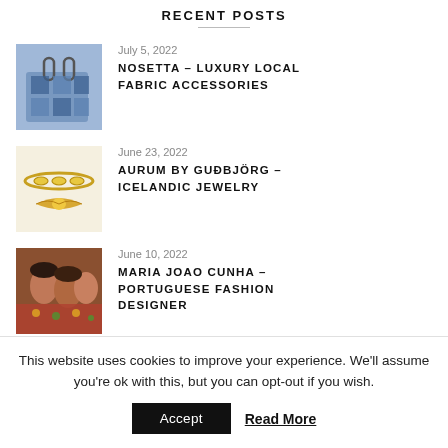RECENT POSTS
July 5, 2022
NOSETTA - LUXURY LOCAL FABRIC ACCESSORIES
June 23, 2022
AURUM BY GUÐBJÖRG - ICELANDIC JEWELRY
June 10, 2022
MARIA JOAO CUNHA - PORTUGUESE FASHION DESIGNER
This website uses cookies to improve your experience. We'll assume you're ok with this, but you can opt-out if you wish.
Accept  Read More